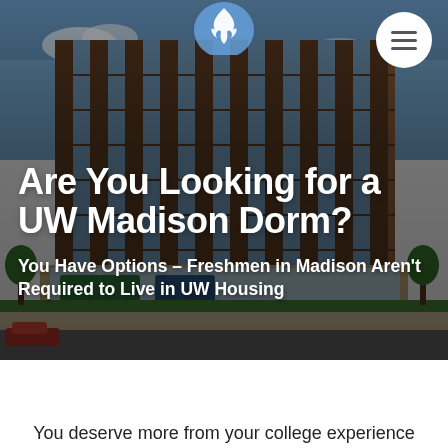[Figure (photo): Hero image of a modern multi-story urban apartment/dorm building with brick and glass facade, street level retail, trees, and cars. A UW Madison flame logo appears at the top center. A hamburger menu icon in a white circle is at the top right.]
Are You Looking for a UW Madison Dorm?
You Have Options – Freshmen in Madison Aren't Required to Live in UW Housing
You deserve more from your college experience